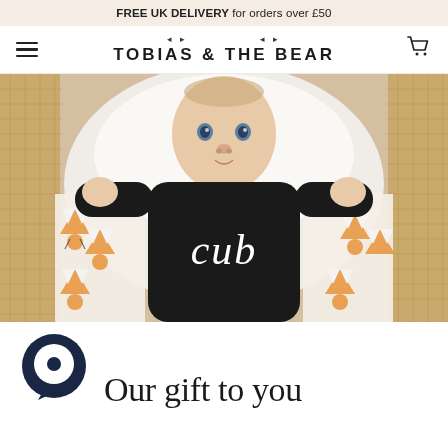FREE UK DELIVERY for orders over £50
TOBIAS & THE BEAR
[Figure (photo): Baby wearing a black 'cub' onesie sitting in a wicker chair surrounded by white and orange fox-print fabric blankets]
[Figure (logo): Dark navy circular speech bubble / chat icon logo]
Our gift to you